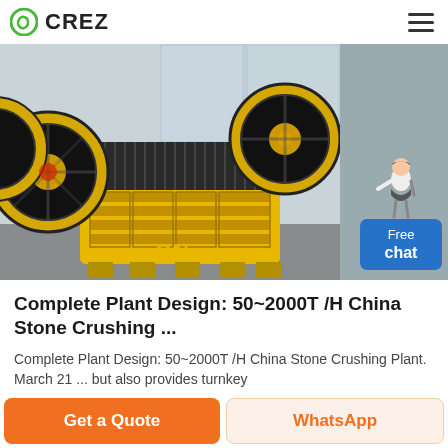CREZ
[Figure (photo): Yellow stone crushing jaw crusher machine with large black flywheels, photographed in a factory/warehouse setting. CN brand logo visible. A 'Free chat' button widget with a female figure illustration appears on the right side.]
Complete Plant Design: 50~2000T /H China Stone Crushing ...
Complete Plant Design: 50~2000T /H China Stone Crushing Plant. March 21 ... but also provides turnkey